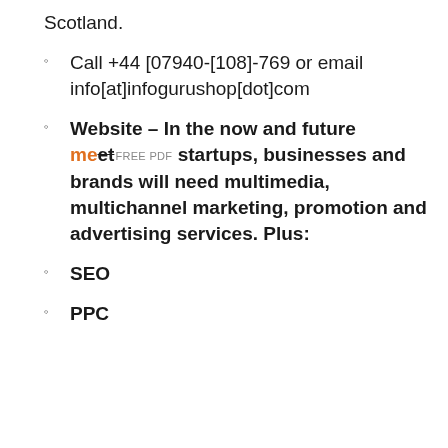Scotland.
Call +44 [07940-[108]-769 or email info[at]infogurushop[dot]com
Website – In the now and future meet startups, businesses and brands will need multimedia, multichannel marketing, promotion and advertising services. Plus:
SEO
PPC